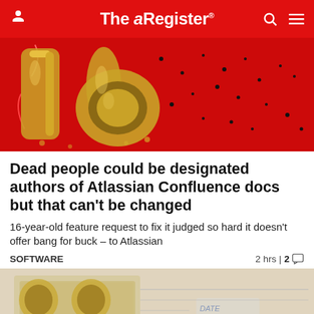The Register
[Figure (photo): Gold number 16 balloons on a red background with confetti and streamers]
Dead people could be designated authors of Atlassian Confluence docs but that can't be changed
16-year-old feature request to fix it judged so hard it doesn't offer bang for buck – to Atlassian
SOFTWARE    2 hrs | 2
[Figure (photo): Partial view of what appears to be gold decorations and a date stamp, bottom of page]